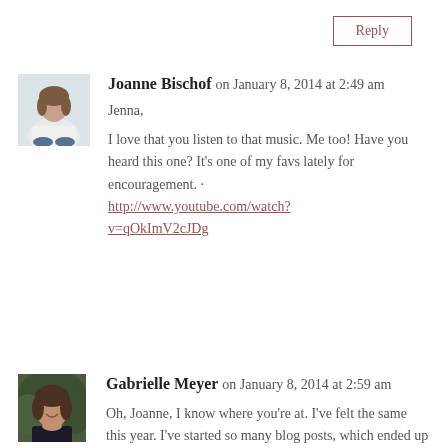Reply
Joanne Bischof on January 8, 2014 at 2:49 am
[Figure (photo): Avatar photo of Joanne Bischof, a woman sitting with a laptop]
Jenna,
I love that you listen to that music. Me too! Have you heard this one? It’s one of my favs lately for encouragement. · http://www.youtube.com/watch?v=qOkImV2cJDg
Reply
Gabrielle Meyer on January 8, 2014 at 2:59 am
[Figure (photo): Avatar photo of Gabrielle Meyer, a woman smiling]
Oh, Joanne, I know where you’re at. I’ve felt the same this year. I’ve started so many blog posts, which ended up being erased, because I couldn’t